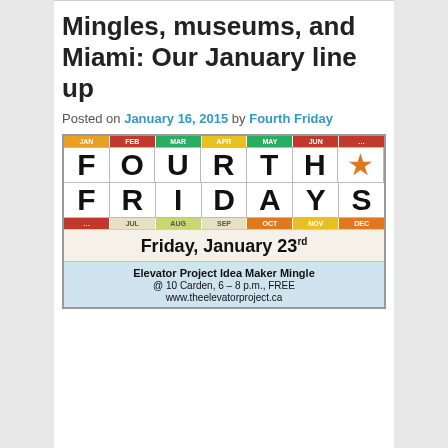Mingles, museums, and Miami: Our January line up
Posted on January 16, 2015 by Fourth Friday
[Figure (infographic): Fourth Fridays calendar graphic showing months JAN-DEC in colored cells with large letters spelling FOURTH FRIDAYS, followed by Friday, January 23rd text and Elevator Project Idea Maker Mingle event details]